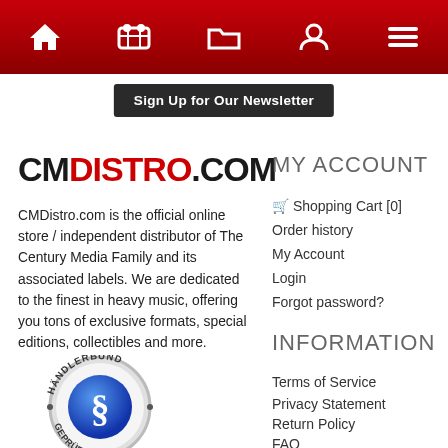Navigation bar with home, cart, folder, user, menu icons
Sign Up for Our Newsletter
[Figure (logo): CMDistro.com logo in bold stylized text with red and black letters]
CMDistro.com is the official online store / independent distributor of The Century Media Family and its associated labels. We are dedicated to the finest in heavy music, offering you tons of exclusive formats, special editions, collectibles and more.
[Figure (logo): Händlerbund geprüfte AGB seal badge — circular badge with blue shield and paragraph symbol]
MY ACCOUNT
🛒 Shopping Cart [0]
Order history
My Account
Login
Forgot password?
INFORMATION
Terms of Service
Privacy Statement
Return Policy
FAQ
STORE